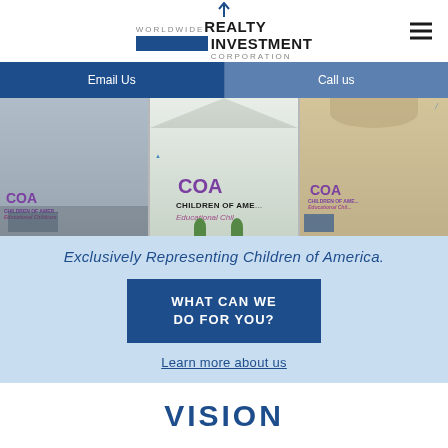[Figure (logo): Worldwide Realty Investment Corporation logo with blue arrow and blue bar]
Email Us | Call us
[Figure (photo): Three Children of America (COA) Educational Childcare building exteriors side by side]
Exclusively Representing Children of America.
WHAT CAN WE DO FOR YOU?
Learn more about us
VISION